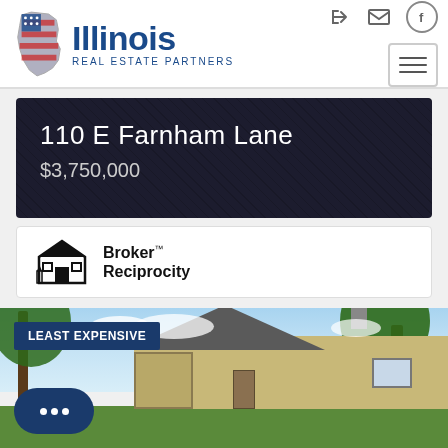[Figure (logo): Illinois Real Estate Partners logo with Illinois state shape and American flag motif]
110 E Farnham Lane
$3,750,000
[Figure (logo): Broker Reciprocity logo with house icon]
[Figure (photo): Exterior photo of a single-story ranch house with trees, labeled LEAST EXPENSIVE]